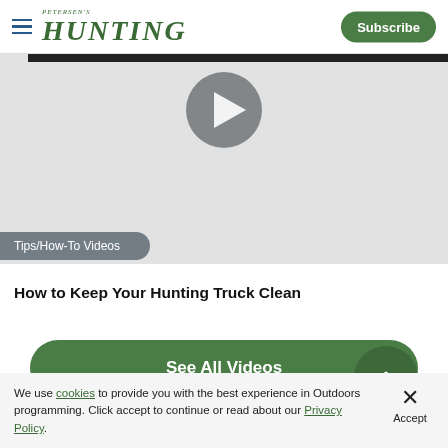PETERSEN'S HUNTING | Subscribe
[Figure (screenshot): Video thumbnail area showing a play button circle on a gray background, with a dark top bar, a category tag 'Tips/How-To Videos', and a white title bar below.]
Tips/How-To Videos
How to Keep Your Hunting Truck Clean
See All Videos
We use cookies to provide you with the best experience in Outdoors programming. Click accept to continue or read about our Privacy Policy.